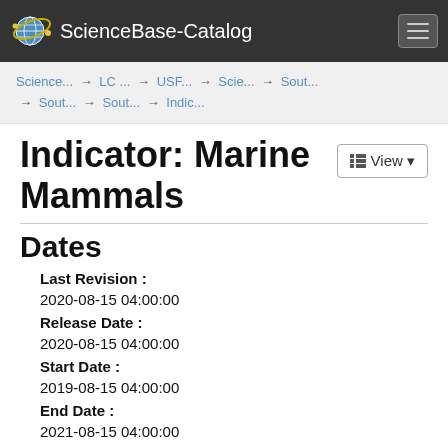ScienceBase-Catalog
Science... → LC ... → USF... → Scie... → Sout... → Sout... → Sout... → Indic...
Indicator: Marine Mammals
Dates
Last Revision : 2020-08-15 04:00:00
Release Date : 2020-08-15 04:00:00
Start Date : 2019-08-15 04:00:00
End Date : 2021-08-15 04:00:00